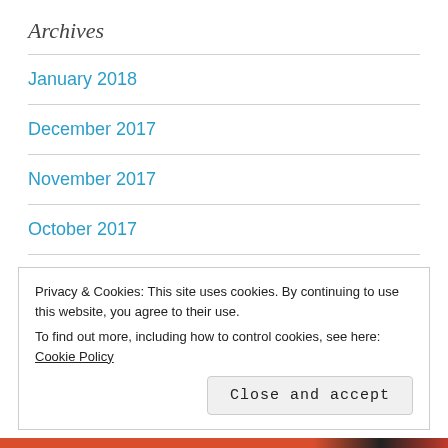Archives
January 2018
December 2017
November 2017
October 2017
September 2017
August 2017
Privacy & Cookies: This site uses cookies. By continuing to use this website, you agree to their use.
To find out more, including how to control cookies, see here: Cookie Policy
Close and accept